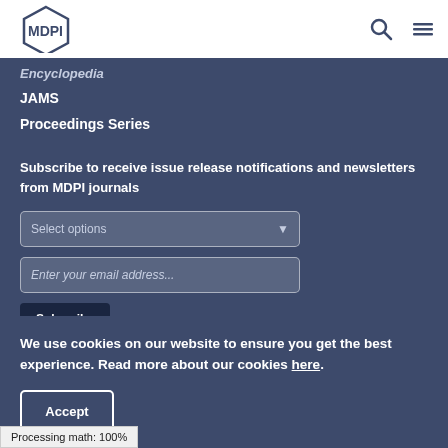MDPI
Encyclopedia
JAMS
Proceedings Series
Subscribe to receive issue release notifications and newsletters from MDPI journals
Select options
Enter your email address...
Subscribe
We use cookies on our website to ensure you get the best experience. Read more about our cookies here.
Accept
Processing math: 100%